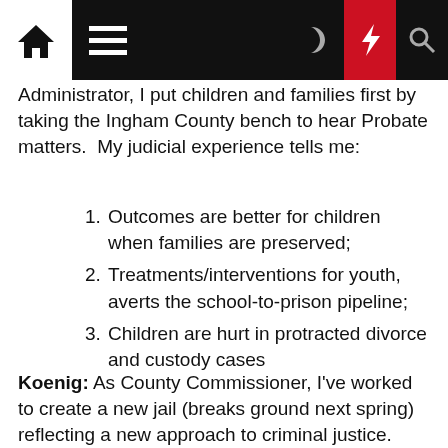[Navigation bar with home, menu, moon, lightning, and search icons]
Administrator, I put children and families first by taking the Ingham County bench to hear Probate matters. My judicial experience tells me:
Outcomes are better for children when families are preserved;
Treatments/interventions for youth, averts the school-to-prison pipeline;
Children are hurt in protracted divorce and custody cases
Koenig: As County Commissioner, I've worked to create a new jail (breaks ground next spring) reflecting a new approach to criminal justice. We're housing fewer inmates but providing improved programming – job training, mental health and substance abuse treatment. I've worked with Mayor Schor, Rep. Brixie, Prosecutor Siemon and many